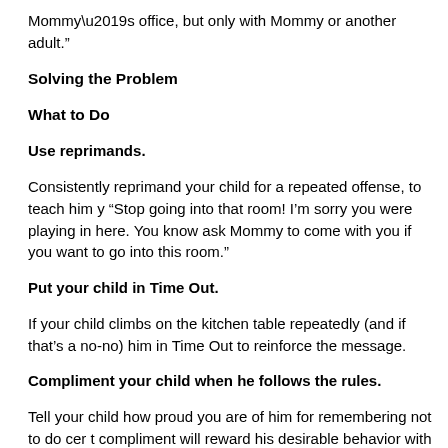Mommy’s office, but only with Mommy or another adult.”
Solving the Problem
What to Do
Use reprimands.
Consistently reprimand your child for a repeated offense, to teach him y“Stop going into that room! I’m sorry you were playing in here. You know ask Mommy to come with you if you want to go into this room.”
Put your child in Time Out.
If your child climbs on the kitchen table repeatedly (and if that’s a no-no) him in Time Out to reinforce the message.
Compliment your child when he follows the rules.
Tell your child how proud you are of him for remembering not to do cer t compliment will reward his desirable behavior with attention, which will e thing again. Say, “How nice of you to play in here where you’re suppose climbing on the coffee table.”
Teach your child to touch with his eyes, not his hands.